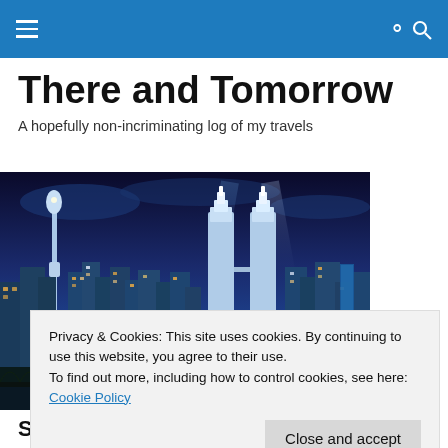There and Tomorrow — navigation header
There and Tomorrow
A hopefully non-incriminating log of my travels
[Figure (photo): Night cityscape of Kuala Lumpur showing the Petronas Twin Towers and KL Tower illuminated against a dramatic blue evening sky]
Privacy & Cookies: This site uses cookies. By continuing to use this website, you agree to their use.
To find out more, including how to control cookies, see here: Cookie Policy

Close and accept
Singapore